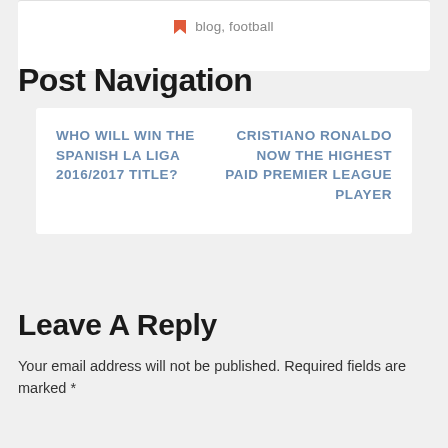blog, football
Post Navigation
WHO WILL WIN THE SPANISH LA LIGA 2016/2017 TITLE?
CRISTIANO RONALDO NOW THE HIGHEST PAID PREMIER LEAGUE PLAYER
Leave A Reply
Your email address will not be published. Required fields are marked *